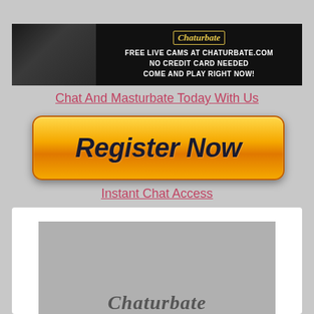[Figure (photo): Chaturbate banner ad with model photo on left and text 'FREE LIVE CAMS AT CHATURBATE.COM NO CREDIT CARD NEEDED COME AND PLAY RIGHT NOW!' on black background]
Chat And Masturbate Today With Us
[Figure (other): Orange gradient 'Register Now' button with italic bold dark text]
Instant Chat Access
[Figure (logo): Chaturbate logo in script font on gray background inside white card]